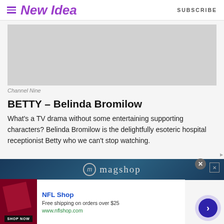New Idea   SUBSCRIBE
[Figure (photo): Gray placeholder image for a Channel Nine TV show photo]
Channel Nine
BETTY – Belinda Bromilow
What's a TV drama without some entertaining supporting characters? Belinda Bromilow is the delightfully esoteric hospital receptionist Betty who we can't stop watching.
[Figure (screenshot): Advertisement banner: magshop logo on dark blue background]
[Figure (screenshot): Advertisement: NFL Shop - Free shipping on orders over $25, www.nflshop.com, SHOP NOW button]